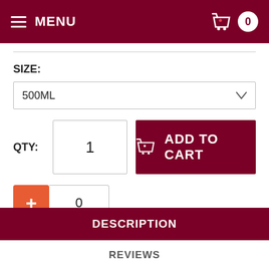MENU  0
SIZE:
500ML
QTY:  1  ADD TO CART
+ 0
DESCRIPTION
REVIEWS